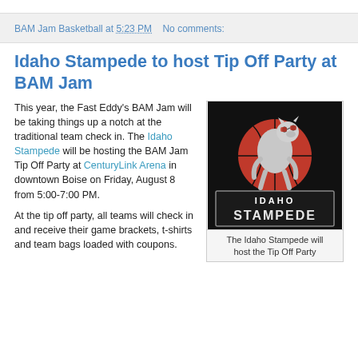BAM Jam Basketball at 5:23 PM    No comments:
Idaho Stampede to host Tip Off Party at BAM Jam
This year, the Fast Eddy's BAM Jam will be taking things up a notch at the traditional team check in. The Idaho Stampede will be hosting the BAM Jam Tip Off Party at CenturyLink Arena in downtown Boise on Friday, August 8 from 5:00-7:00 PM.
[Figure (logo): Idaho Stampede logo — a mountain lion over a red basketball circle with 'IDAHO STAMPEDE' text on a black background]
The Idaho Stampede will host the Tip Off Party
At the tip off party, all teams will check in and receive their game brackets, t-shirts and team bags loaded with coupons.